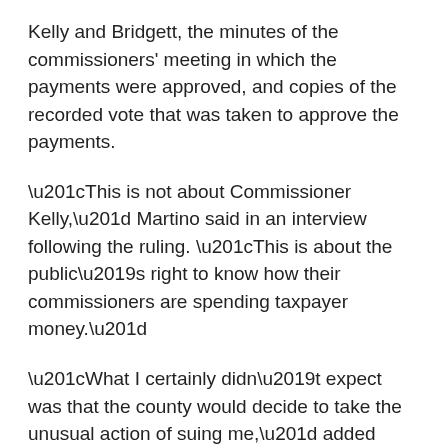Kelly and Bridgett, the minutes of the commissioners' meeting in which the payments were approved, and copies of the recorded vote that was taken to approve the payments.
“This is not about Commissioner Kelly,” Martino said in an interview following the ruling. “This is about the public’s right to know how their commissioners are spending taxpayer money.”
“What I certainly didn’t expect was that the county would decide to take the unusual action of suing me,” added Martino. Although Martino and Byrd were co-defendants in the suit, Martino said that she and Byrd had filed their requests independently of each other and have never met. “It was just a pure coincidence,” she said.